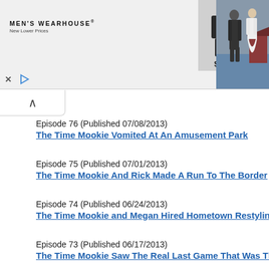[Figure (screenshot): Men's Wearhouse advertisement banner showing logo, suit for $69.99, and couple in formal wear]
Episode 76 (Published 07/08/2013)
The Time Mookie Vomited At An Amusement Park
Episode 75 (Published 07/01/2013)
The Time Mookie And Rick Made A Run To The Border
Episode 74 (Published 06/24/2013)
The Time Mookie and Megan Hired Hometown Restylin
Episode 73 (Published 06/17/2013)
The Time Mookie Saw The Real Last Game That Was The Basis Of The Movie: "The Final Season"
Episode 72 (Published 06/10/2013)
The Time Mookie Worked As A Busboy